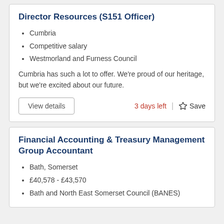Director Resources (S151 Officer)
Cumbria
Competitive salary
Westmorland and Furness Council
Cumbria has such a lot to offer. We're proud of our heritage, but we're excited about our future.
View details | 3 days left | Save
Financial Accounting & Treasury Management Group Accountant
Bath, Somerset
£40,578 - £43,570
Bath and North East Somerset Council (BANES)